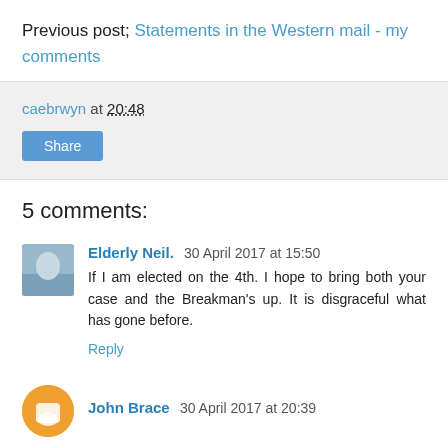Previous post; Statements in the Western mail - my comments
caebrwyn at 20:48
Share
5 comments:
Elderly Neil.  30 April 2017 at 15:50
If I am elected on the 4th. I hope to bring both your case and the Breakman's up. It is disgraceful what has gone before.
Reply
John Brace  30 April 2017 at 20:39